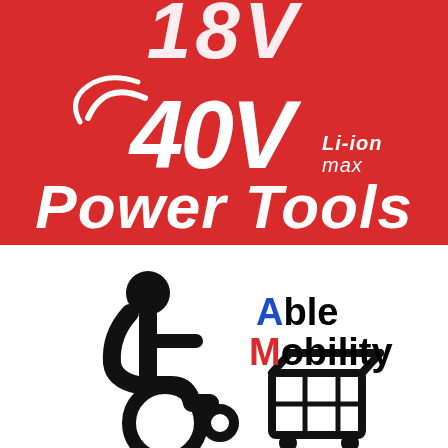[Figure (logo): Red background brand logo showing '18V' at top (partially cropped), '40V Li-ion max' badge in center with white swoosh graphic, and 'Power Tools' in large white italic bold text below]
[Figure (logo): White background showing black wheelchair accessibility icon on left and 'Able Mobility' text logo on right with 'A' in blue and 'M' in red]